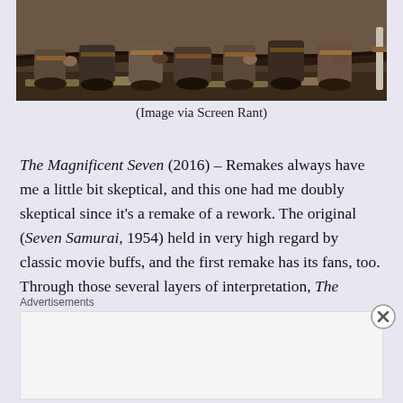[Figure (photo): Photo of group of people (possibly warriors/samurai from The Magnificent Seven 2016 film) seated on ground, showing lower bodies, hands, and weapons]
(Image via Screen Rant)
The Magnificent Seven (2016) – Remakes always have me a little bit skeptical, and this one had me doubly skeptical since it's a remake of a rework. The original (Seven Samurai, 1954) held in very high regard by classic movie buffs, and the first remake has its fans, too. Through those several layers of interpretation, The Magnificent Seven doesn't break a whole lot of new ground, but I enjoyed the heck out of it as pure entertainment. It's not Seven Samurai–
Advertisements